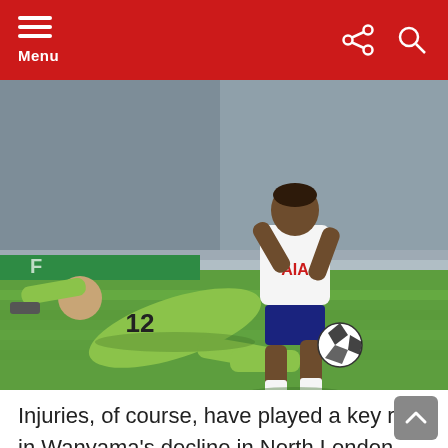Menu
[Figure (photo): A football match action shot: a Tottenham Hotspur player in white AIA kit jumps over a sliding goalkeeper in green kit wearing number 12, with a football on the grass and a crowd in the background.]
Injuries, of course, have played a key role in Wanyama's decline in North London after he enjoyed a brilliant run in the first-team at Spurs in his debut season following his move from Southampton in